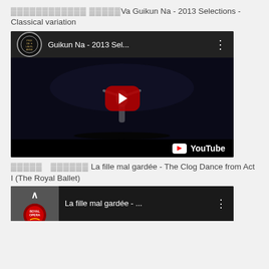〓〓〓〓〓〓〓〓〓〓〓〓 〓〓〓〓〓Va Guikun Na - 2013 Selections - Classical variation
[Figure (screenshot): YouTube video thumbnail showing a dancer with arms raised performing classical ballet. The video is titled 'Guikun Na - 2013 Sel...' with Prix de Lausanne logo. A red play button overlay is visible in the center, and the YouTube logo appears at the bottom right.]
〓〓〓〓〓 〓〓〓〓〓〓 La fille mal gardée - The Clog Dance from Act I (The Royal Ballet)
[Figure (screenshot): YouTube video thumbnail showing the beginning of a second video titled 'La fille mal gardée - ...' with Royal Opera logo visible on the left side.]